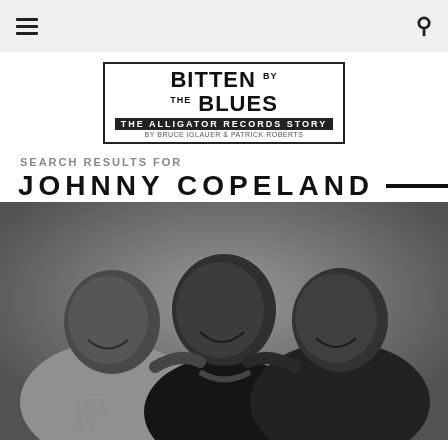Navigation header with hamburger menu and search icon
[Figure (logo): Bitten by the Blues - The Alligator Records Story logo, by Bruce Iglauer & Patrick Roberts]
SEARCH RESULTS FOR
JOHNNY COPELAND
[Figure (photo): Black and white photograph of three smiling men with arms around each other. Left man wears a Texas t-shirt, center man wears a dark turtleneck and holds a guitar, right man wears a sleeveless top with a necklace.]